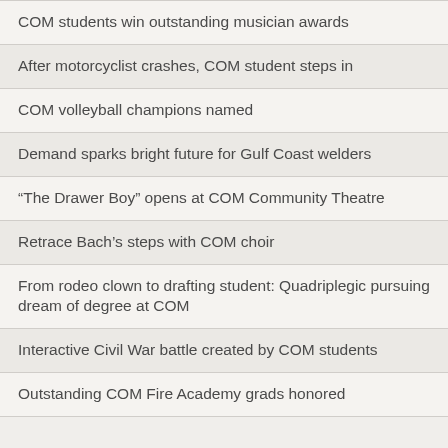COM students win outstanding musician awards
After motorcyclist crashes, COM student steps in
COM volleyball champions named
Demand sparks bright future for Gulf Coast welders
“The Drawer Boy” opens at COM Community Theatre
Retrace Bach’s steps with COM choir
From rodeo clown to drafting student: Quadriplegic pursuing dream of degree at COM
Interactive Civil War battle created by COM students
Outstanding COM Fire Academy grads honored